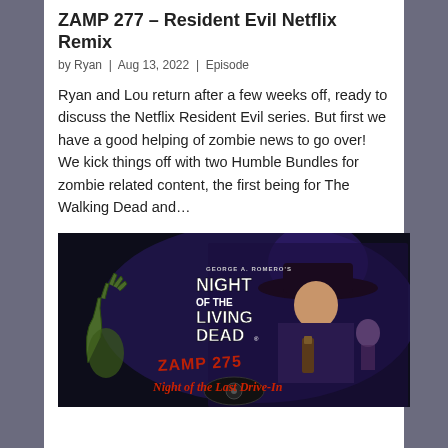ZAMP 277 – Resident Evil Netflix Remix
by Ryan | Aug 13, 2022 | Episode
Ryan and Lou return after a few weeks off, ready to discuss the Netflix Resident Evil series. But first we have a good helping of zombie news to go over! We kick things off with two Humble Bundles for zombie related content, the first being for The Walking Dead and…
[Figure (photo): Movie poster style image for 'George A. Romero's Night of the Living Dead' with text 'ZAMP 275 Night of the Last Drive-In' overlaid. Shows a cowboy-hat wearing man holding a bottle, with a zombie hand in the foreground and dramatic purple/blue atmospheric lighting.]